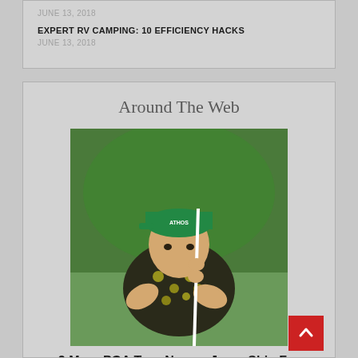JUNE 13, 2018
EXPERT RV CAMPING: 10 EFFICIENCY HACKS
JUNE 13, 2018
Around The Web
[Figure (photo): Golfer wearing a green cap and patterned shirt, leaning on a golf club on a green]
2 More PGA Tour Names Jump Ship For LIV Golf
[Figure (photo): Food/drink item in a martini glass with chocolate drizzle]